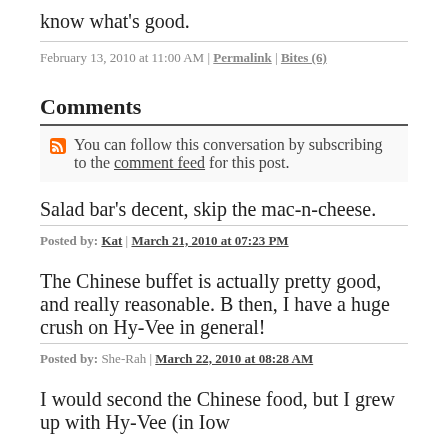know what's good.
February 13, 2010 at 11:00 AM | Permalink | Bites (6)
Comments
You can follow this conversation by subscribing to the comment feed for this post.
Salad bar's decent, skip the mac-n-cheese.
Posted by: Kat | March 21, 2010 at 07:23 PM
The Chinese buffet is actually pretty good, and really reasonable. B then, I have a huge crush on Hy-Vee in general!
Posted by: She-Rah | March 22, 2010 at 08:28 AM
I would second the Chinese food, but I grew up with Hy-Vee (in Iow